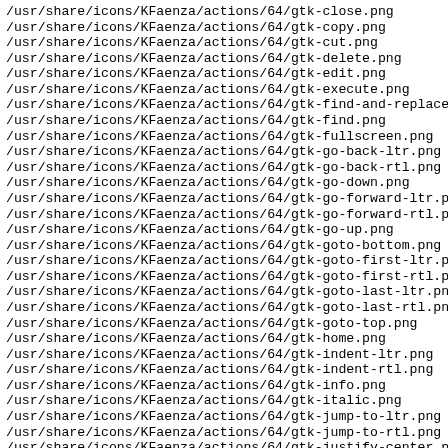/usr/share/icons/KFaenza/actions/64/gtk-close.png
/usr/share/icons/KFaenza/actions/64/gtk-copy.png
/usr/share/icons/KFaenza/actions/64/gtk-cut.png
/usr/share/icons/KFaenza/actions/64/gtk-delete.png
/usr/share/icons/KFaenza/actions/64/gtk-edit.png
/usr/share/icons/KFaenza/actions/64/gtk-execute.png
/usr/share/icons/KFaenza/actions/64/gtk-find-and-replace
/usr/share/icons/KFaenza/actions/64/gtk-find.png
/usr/share/icons/KFaenza/actions/64/gtk-fullscreen.png
/usr/share/icons/KFaenza/actions/64/gtk-go-back-ltr.png
/usr/share/icons/KFaenza/actions/64/gtk-go-back-rtl.png
/usr/share/icons/KFaenza/actions/64/gtk-go-down.png
/usr/share/icons/KFaenza/actions/64/gtk-go-forward-ltr.p
/usr/share/icons/KFaenza/actions/64/gtk-go-forward-rtl.p
/usr/share/icons/KFaenza/actions/64/gtk-go-up.png
/usr/share/icons/KFaenza/actions/64/gtk-goto-bottom.png
/usr/share/icons/KFaenza/actions/64/gtk-goto-first-ltr.p
/usr/share/icons/KFaenza/actions/64/gtk-goto-first-rtl.p
/usr/share/icons/KFaenza/actions/64/gtk-goto-last-ltr.png
/usr/share/icons/KFaenza/actions/64/gtk-goto-last-rtl.png
/usr/share/icons/KFaenza/actions/64/gtk-goto-top.png
/usr/share/icons/KFaenza/actions/64/gtk-home.png
/usr/share/icons/KFaenza/actions/64/gtk-indent-ltr.png
/usr/share/icons/KFaenza/actions/64/gtk-indent-rtl.png
/usr/share/icons/KFaenza/actions/64/gtk-info.png
/usr/share/icons/KFaenza/actions/64/gtk-italic.png
/usr/share/icons/KFaenza/actions/64/gtk-jump-to-ltr.png
/usr/share/icons/KFaenza/actions/64/gtk-jump-to-rtl.png
/usr/share/icons/KFaenza/actions/64/gtk-justify-center.p
/usr/share/icons/KFaenza/actions/64/gtk-justify-fill.png